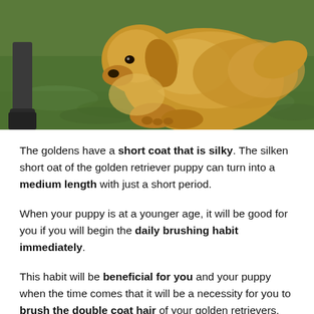[Figure (photo): A golden retriever puppy sitting on green grass next to a person's legs wearing dark pants and boots. The dog has fluffy golden fur and is photographed from a low angle outdoors.]
The goldens have a short coat that is silky. The silken short oat of the golden retriever puppy can turn into a medium length with just a short period.
When your puppy is at a younger age, it will be good for you if you will begin the daily brushing habit immediately.
This habit will be beneficial for you and your puppy when the time comes that it will be a necessity for you to brush the double coat hair of your golden retrievers.
It can also decrease the amount of shed hair from your new